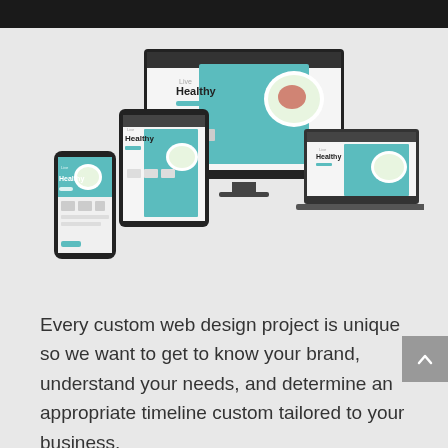[Figure (screenshot): Responsive web design mockup showing a healthy food website across desktop monitor, tablet, laptop, and mobile phone screens. Each device shows a webpage with 'Live Healthy' heading and a salad bowl image with teal/blue design accents.]
Every custom web design project is unique so we want to get to know your brand, understand your needs, and determine an appropriate timeline custom tailored to your business.